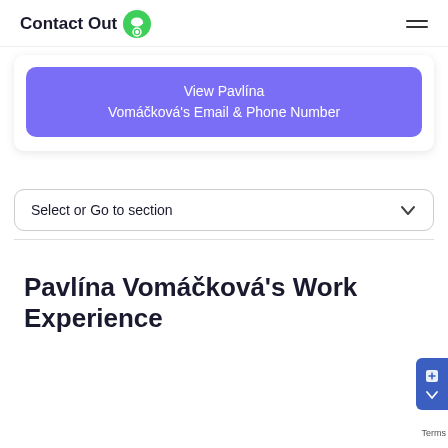ContactOut
View Pavlína Vomáčková's Email & Phone Number
Select or Go to section
Pavlína Vomáčková's Work Experience